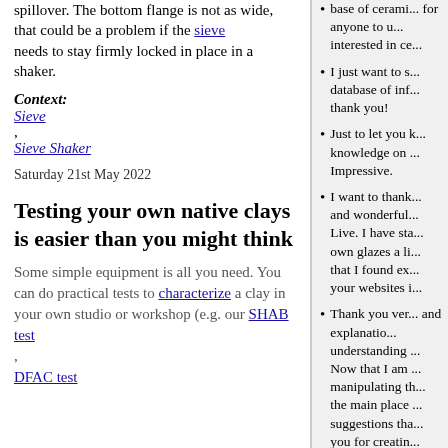spillover. The bottom flange is not as wide, that could be a problem if the sieve needs to stay firmly locked in place in a shaker.
Context:
Sieve
, Sieve Shaker
Saturday 21st May 2022
Testing your own native clays is easier than you might think
Some simple equipment is all you need. You can do practical tests to characterize a clay in your own studio or workshop (e.g. our SHAB test , DFAC test
base of cerami... for anyone to u... interested in ce...
I just want to s... database of inf... thank you!
Just to let you k... knowledge on ... Impressive.
I want to thank... and wonderful... Live. I have sta... own glazes a li... that I found ex... your websites i...
Thank you ver... and explanatio... understanding ... Now that I am ... manipulating th... the main place ... suggestions tha... you for creatin... upgrade . The i... forgiving. Tha...